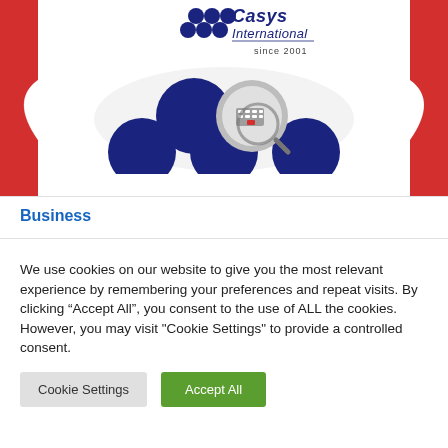[Figure (logo): Casys International logo with dark navy grape/circle cluster icon, italic brand name 'Casys International', and tagline 'since 2001'. Red decorative swoosh elements on left and right. Below the logo are dark navy silhouette circles (people icons) with a magnifying glass over a keyboard image.]
Business
We use cookies on our website to give you the most relevant experience by remembering your preferences and repeat visits. By clicking “Accept All”, you consent to the use of ALL the cookies. However, you may visit "Cookie Settings" to provide a controlled consent.
Cookie Settings
Accept All